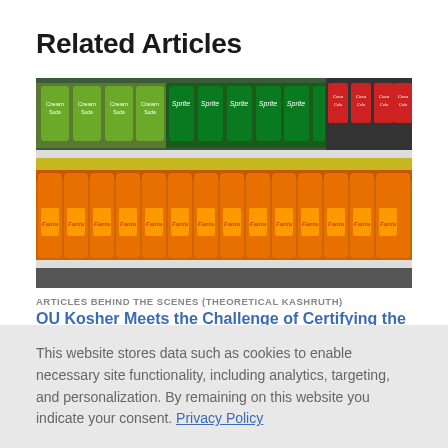Related Articles
[Figure (photo): Supermarket shelf stocked with rows of Fanta orange soda bottles on lower shelf, and cans of Cream Soda, Sprite, and Coca-Cola on upper shelf.]
ARTICLES BEHIND THE SCENES (THEORETICAL KASHRUTH)
OU Kosher Meets the Challenge of Certifying the
This website stores data such as cookies to enable necessary site functionality, including analytics, targeting, and personalization. By remaining on this website you indicate your consent. Privacy Policy